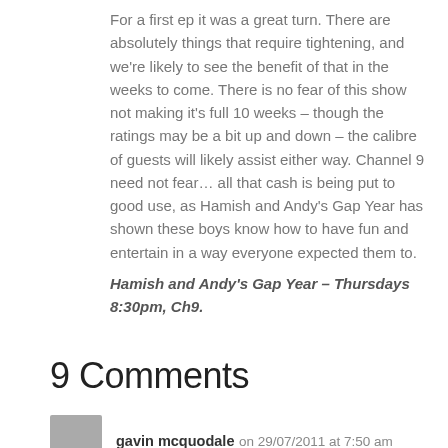For a first ep it was a great turn. There are absolutely things that require tightening, and we're likely to see the benefit of that in the weeks to come. There is no fear of this show not making it's full 10 weeks – though the ratings may be a bit up and down – the calibre of guests will likely assist either way. Channel 9 need not fear… all that cash is being put to good use, as Hamish and Andy's Gap Year has shown these boys know how to have fun and entertain in a way everyone expected them to.
Hamish and Andy's Gap Year – Thursdays 8:30pm, Ch9.
9 Comments
gavin mcquodale on 29/07/2011 at 7:50 am